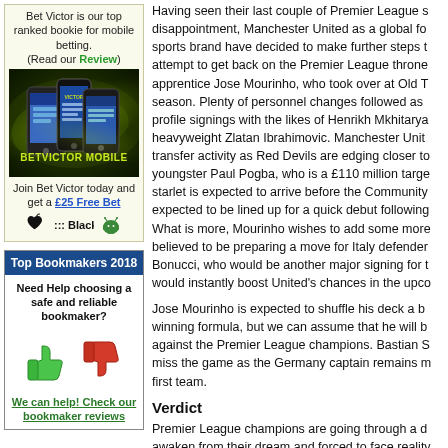[Figure (infographic): BetVictor mobile betting advertisement with phones image, 'BETVICTOR MOBILE' text on dark green glowing background, join text, £25 Free Bet link, and platform icons (Apple, BlackBerry, Android)]
[Figure (infographic): Top Bookmakers 2018 box with blue header, help text, thumbs up (green) and thumbs down (red) icons, and link to bookmaker reviews]
Having seen their last couple of Premier League s disappointment, Manchester United as a global fo sports brand have decided to make further steps t attempt to get back on the Premier League throne apprentice Jose Mourinho, who took over at Old T season. Plenty of personnel changes followed as profile signings with the likes of Henrikh Mkhitarya heavyweight Zlatan Ibrahimovic. Manchester Unit transfer activity as Red Devils are edging closer to youngster Paul Pogba, who is a £110 million targe starlet is expected to arrive before the Community expected to be lined up for a quick debut following What is more, Mourinho wishes to add some more believed to be preparing a move for Italy defender Bonucci, who would be another major signing for t would instantly boost United's chances in the upco
Jose Mourinho is expected to shuffle his deck a b winning formula, but we can assume that he will b against the Premier League champions. Bastian S miss the game as the Germany captain remains m first team.
Verdict
Premier League champions are going through a d awaken from their dream and forced to face reality great deal of money in order to take away their cre struggle to keep pace and their first competitive m indicator of things to expect. Jose Mourinho's hea go and we expect Red Devils to start their season